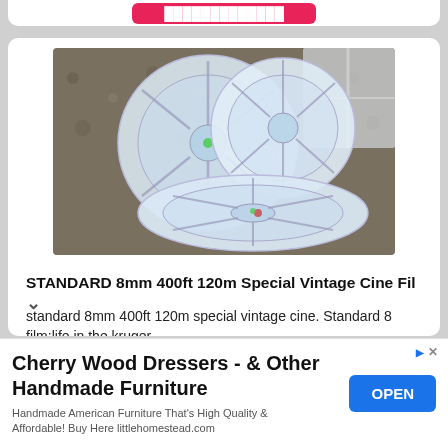[Figure (photo): Photo of multiple clear/transparent plastic 8mm film reels sitting on a patterned dark tablecloth near a window]
STANDARD 8mm 400ft 120m Special Vintage Cine Fil
standard 8mm 400ft 120m special vintage cine. Standard 8 film:life in the kruger [park], charlie chaplin in his trusting [truncated]
Cherry Wood Dressers - & Other Handmade Furniture
Handmade American Furniture That's High Quality & Affordable! Buy Here littlehomestead.com
[Figure (screenshot): OPEN button advertisement for Cherry Wood Dressers / Handmade Furniture - littlehomestead.com]